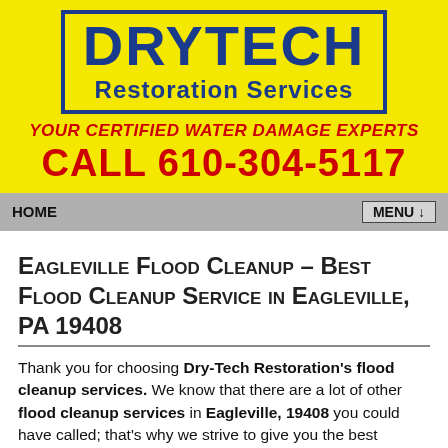[Figure (logo): Drytech Restoration Services logo on yellow background with blue bordered box, company name in blue, tagline and phone number in red]
HOME  MENU ↓
Eagleville Flood Cleanup – Best Flood Cleanup Service in Eagleville, PA 19408
Thank you for choosing Dry-Tech Restoration's flood cleanup services. We know that there are a lot of other flood cleanup services in Eagleville, 19408 you could have called; that's why we strive to give you the best possible service at a reasonable price.
We are focused on offering the best flood cleanup services at competitive prices for you in Eagleville